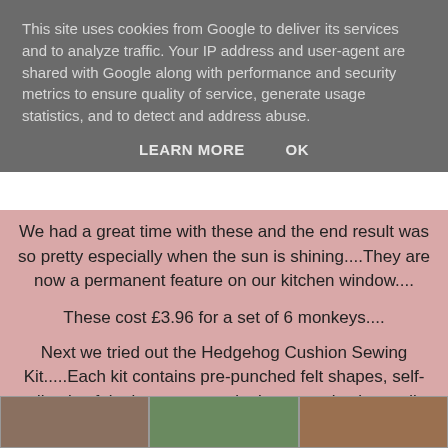This site uses cookies from Google to deliver its services and to analyze traffic. Your IP address and user-agent are shared with Google along with performance and security metrics to ensure quality of service, generate usage statistics, and to detect and address abuse.
LEARN MORE    OK
We had a great time with these and the end result was so pretty especially when the sun is shining....They are now a permanent feature on our kitchen window....
These cost £3.96 for a set of 6 monkeys....
Next we tried out the Hedgehog Cushion Sewing Kit.....Each kit contains pre-punched felt shapes, self-adhesive felt pieces, yarn, wiggle-eyes, plastic needle and stuffing....
[Figure (photo): Three thumbnail images in a horizontal strip at the bottom of the page]